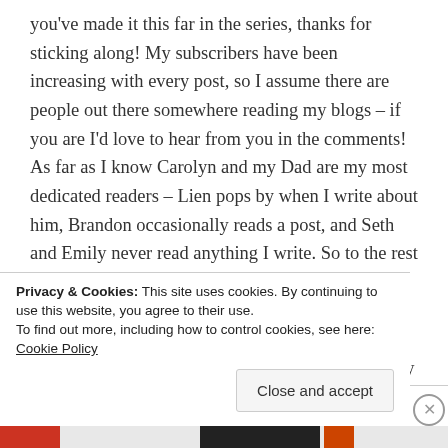you've made it this far in the series, thanks for sticking along! My subscribers have been increasing with every post, so I assume there are people out there somewhere reading my blogs – if you are I'd love to hear from you in the comments! As far as I know Carolyn and my Dad are my most dedicated readers – Lien pops by when I write about him, Brandon occasionally reads a post, and Seth and Emily never read anything I write. So to the rest of my readers – I appreciate you! If you read my blog for posts about the backcountry and trails in BC, please let me know what you like about them and anything you'd appreciate seeing added. I really am curious and like to
Privacy & Cookies: This site uses cookies. By continuing to use this website, you agree to their use.
To find out more, including how to control cookies, see here: Cookie Policy
Close and accept